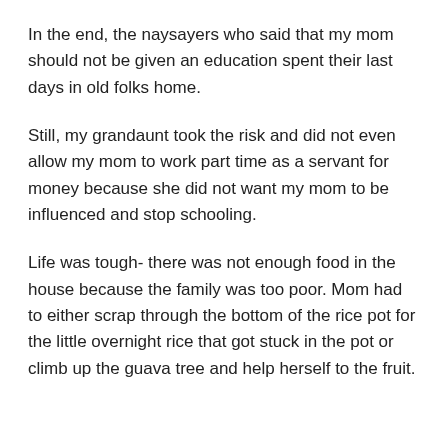In the end, the naysayers who said that my mom should not be given an education spent their last days in old folks home.
Still, my grandaunt took the risk and did not even allow my mom to work part time as a servant for money because she did not want my mom to be influenced and stop schooling.
Life was tough- there was not enough food in the house because the family was too poor. Mom had to either scrap through the bottom of the rice pot for the little overnight rice that got stuck in the pot or climb up the guava tree and help herself to the fruit.